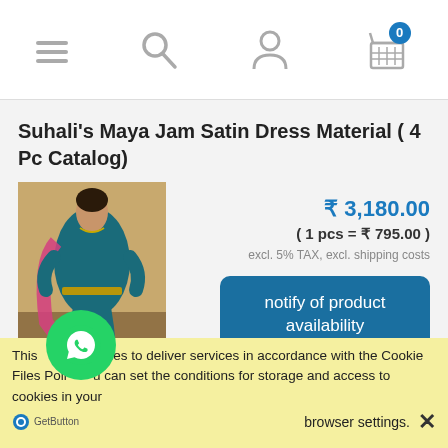[Navigation: hamburger menu, search, user, cart (0)]
Suhali's Maya Jam Satin Dress Material ( 4 Pc Catalog)
[Figure (photo): Product photo of a teal/dark blue Indian dress (salwar suit) with embroidered details, pink dupatta, and red shoes on a decorative background.]
₹ 3,180.00
( 1 pcs = ₹ 795.00 )
excl. 5% TAX, excl. shipping costs
notify of product availability
This uses cookies to deliver services in accordance with the Cookie Files Policy. You can set the conditions for storage and access to cookies in your browser settings.
GetButton